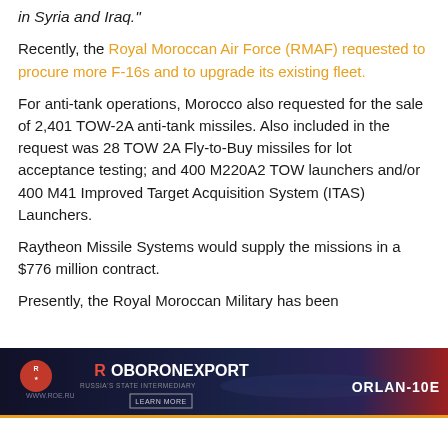in Syria and Iraq."
Recently, the Royal Moroccan Air Force (RMAF) requested to procure more F-16s and to upgrade its existing fleet.
For anti-tank operations, Morocco also requested for the sale of 2,401 TOW-2A anti-tank missiles. Also included in the request was 28 TOW 2A Fly-to-Buy missiles for lot acceptance testing; and 400 M220A2 TOW launchers and/or 400 M41 Improved Target Acquisition System (ITAS) Launchers.
Raytheon Missile Systems would supply the missions in a $776 million contract.
Presently, the Royal Moroccan Military has been
[Figure (infographic): Rosoboronexport advertisement banner featuring ORLAN-10E drone, dark blue and red background with logo and Learn More button]